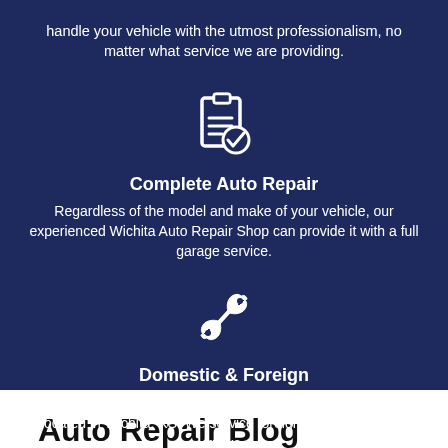handle your vehicle with the utmost professionalism, no matter what service we are providing.
[Figure (illustration): White clipboard with checklist and checkmark icon on dark navy background]
Complete Auto Repair
Regardless of the model and make of your vehicle, our experienced Wichita Auto Repair Shop can provide it with a full garage service.
[Figure (illustration): White crossed wrench and screwdriver tools icon on dark navy background]
Domestic & Foreign
We are a full service and performance auto repair facility located in Wichita, KS. We service foreign, domestic & light trucks.
Auto Repair Blog